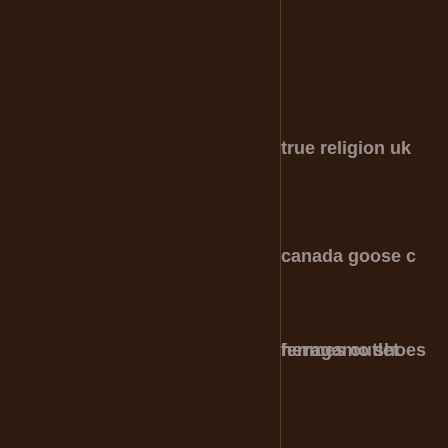true religion uk
canada goose c
hermes outlet
ferragamo shoes
canada goose o